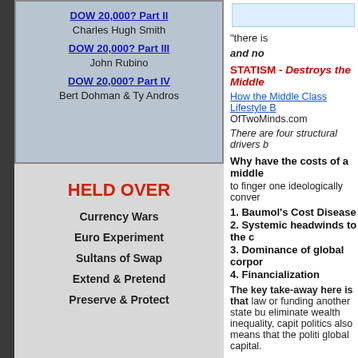DOW 20,000? Part II
Charles Hugh Smith
DOW 20,000? Part III
John Rubino
DOW 20,000? Part IV
Bert Dohman & Ty Andros
HELD OVER
Currency Wars
Euro Experiment
Sultans of Swap
Extend & Pretend
Preserve & Protect
"there is
and no
STATISM - Destroys the Middle
How the Middle Class Lifestyle B
OfTwoMinds.com
There are four structural drivers b
Why have the costs of a middle
to finger one ideologically conver
1. Baumol's Cost Disease
2. Systemic headwinds to the c
3. Dominance of global corpor
4. Financialization
The key take-away here is that law or funding another state bu eliminate wealth inequality, capit politics also means that the politi global capital.